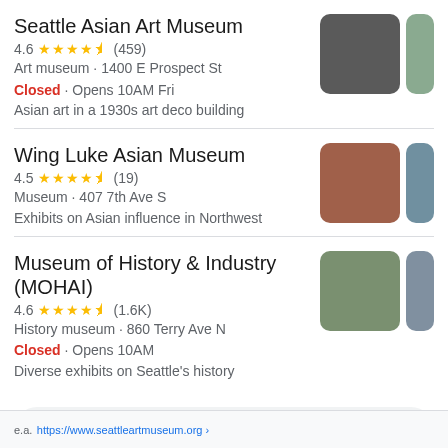Seattle Asian Art Museum
4.6 ★★★★½ (459)
Art museum · 1400 E Prospect St
Closed · Opens 10AM Fri
Asian art in a 1930s art deco building
Wing Luke Asian Museum
4.5 ★★★★½ (19)
Museum · 407 7th Ave S
Exhibits on Asian influence in Northwest
Museum of History & Industry (MOHAI)
4.6 ★★★★½ (1.6K)
History museum · 860 Terry Ave N
Closed · Opens 10AM
Diverse exhibits on Seattle's history
More places ›
https://www.seattleartmuseum.org ›